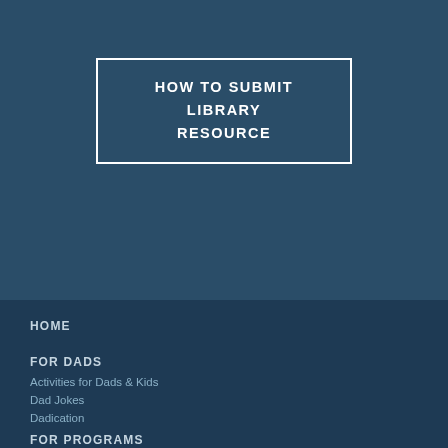[Figure (screenshot): Dark blue banner section with a bordered button labeled HOW TO SUBMIT LIBRARY RESOURCE]
HOW TO SUBMIT LIBRARY RESOURCE
HOME
FOR DADS
Activities for Dads & Kids
Dad Jokes
Dadication
FOR PROGRAMS